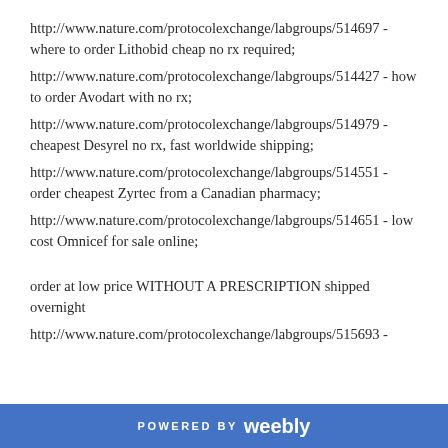http://www.nature.com/protocolexchange/labgroups/514697 - where to order Lithobid cheap no rx required;
http://www.nature.com/protocolexchange/labgroups/514427 - how to order Avodart with no rx;
http://www.nature.com/protocolexchange/labgroups/514979 - cheapest Desyrel no rx, fast worldwide shipping;
http://www.nature.com/protocolexchange/labgroups/514551 - order cheapest Zyrtec from a Canadian pharmacy;
http://www.nature.com/protocolexchange/labgroups/514651 - low cost Omnicef for sale online;
order at low price WITHOUT A PRESCRIPTION shipped overnight
http://www.nature.com/protocolexchange/labgroups/515693 -
POWERED BY weebly